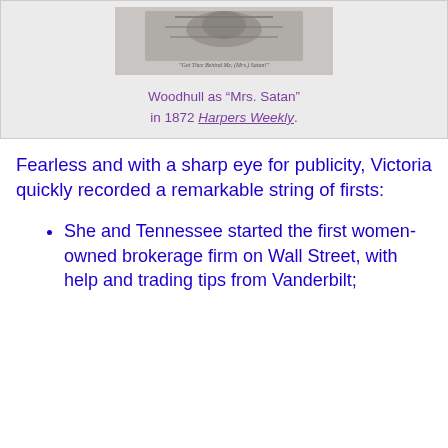[Figure (illustration): Illustration of Woodhull depicted as Mrs. Satan from Harpers Weekly, 1872. A sketched figure with wings.]
Woodhull as “Mrs. Satan” in 1872 Harpers Weekly.
Fearless and with a sharp eye for publicity, Victoria quickly recorded a remarkable string of firsts:
She and Tennessee started the first women-owned brokerage firm on Wall Street, with help and trading tips from Vanderbilt;